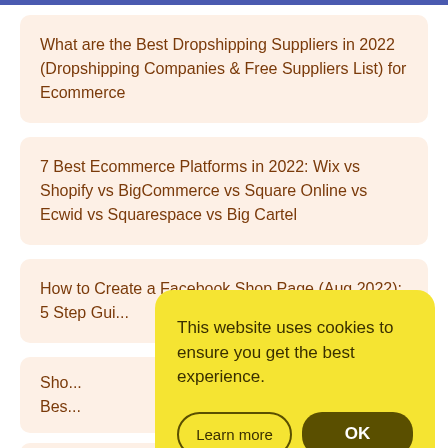What are the Best Dropshipping Suppliers in 2022 (Dropshipping Companies & Free Suppliers List) for Ecommerce
7 Best Ecommerce Platforms in 2022: Wix vs Shopify vs BigCommerce vs Square Online vs Ecwid vs Squarespace vs Big Cartel
How to Create a Facebook Shop Page (Aug 2022): 5 Step Gui...
Sho...
Bes... ...oify
Wo...
Abso...
[Figure (screenshot): Cookie consent popup overlay with yellow background. Text: 'This website uses cookies to ensure you get the best experience.' Two buttons: 'Learn more' (outlined) and 'OK' (dark filled).]